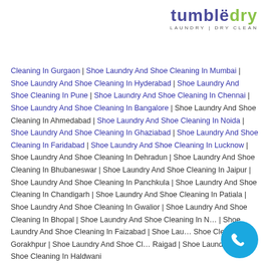[Figure (logo): Tumbledry logo with text 'tumbledry' in blue/green and subtitle 'LAUNDRY | DRY CLEAN']
Cleaning In Gurgaon | Shoe Laundry And Shoe Cleaning In Mumbai | Shoe Laundry And Shoe Cleaning In Hyderabad | Shoe Laundry And Shoe Cleaning In Pune | Shoe Laundry And Shoe Cleaning In Chennai | Shoe Laundry And Shoe Cleaning In Bangalore | Shoe Laundry And Shoe Cleaning In Ahmedabad | Shoe Laundry And Shoe Cleaning In Noida | Shoe Laundry And Shoe Cleaning In Ghaziabad | Shoe Laundry And Shoe Cleaning In Faridabad | Shoe Laundry And Shoe Cleaning In Lucknow | Shoe Laundry And Shoe Cleaning In Dehradun | Shoe Laundry And Shoe Cleaning In Bhubaneswar | Shoe Laundry And Shoe Cleaning In Jaipur | Shoe Laundry And Shoe Cleaning In Panchkula | Shoe Laundry And Shoe Cleaning In Chandigarh | Shoe Laundry And Shoe Cleaning In Patiala | Shoe Laundry And Shoe Cleaning In Gwalior | Shoe Laundry And Shoe Cleaning In Bhopal | Shoe Laundry And Shoe Cleaning In N… | Shoe Laundry And Shoe Cleaning In Faizabad | Shoe Laundry And Shoe Cleaning In Gorakhpur | Shoe Laundry And Shoe Cleaning In Raigad | Shoe Laundry And Shoe Cleaning In Haldwani